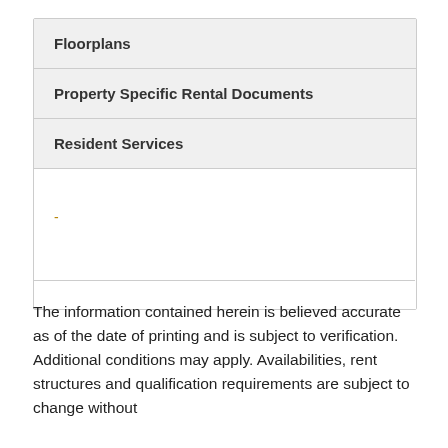Floorplans
Property Specific Rental Documents
Resident Services
-
The information contained herein is believed accurate as of the date of printing and is subject to verification. Additional conditions may apply. Availabilities, rent structures and qualification requirements are subject to change without